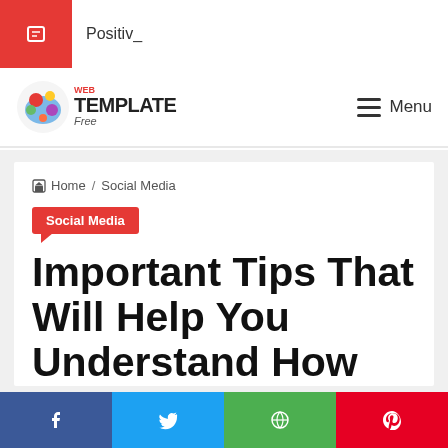Positiv_
[Figure (logo): Web Template Free logo with colorful icon and text]
Menu
Home / Social Media
Social Media
Important Tips That Will Help You Understand How To Improve The